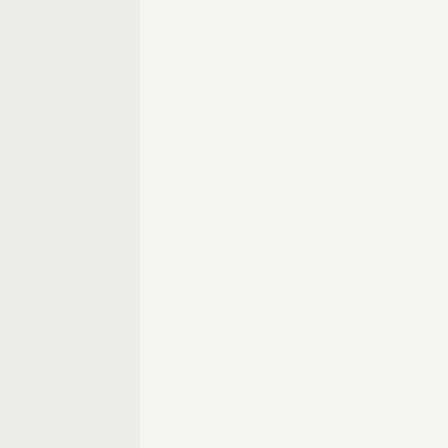allowing moisture to be deposited high into the Martian troposphere, where UV will dissociate some fraction of